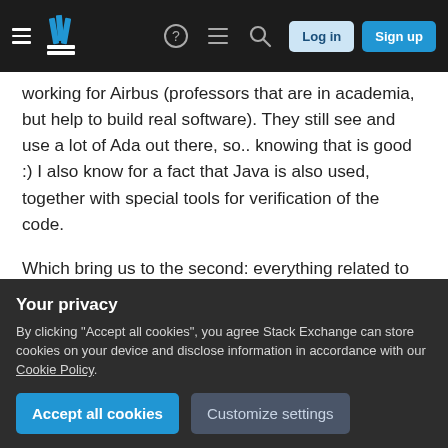Stack Exchange navigation bar with hamburger menu, logo, question mark, chat, search icons, Log in and Sign up buttons
working for Airbus (professors that are in academia, but help to build real software). They still see and use a lot of Ada out there, so.. knowing that is good :) I also know for a fact that Java is also used, together with special tools for verification of the code.

Which bring us to the second: everything related to the verification of software, both from a theoretical and a practical point of view, will help you hugely in this industry. Study and practice with runtime
Your privacy
By clicking "Accept all cookies", you agree Stack Exchange can store cookies on your device and disclose information in accordance with our Cookie Policy.
systems and with the (more rare) real-time OSes